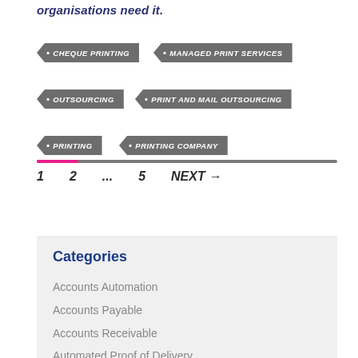organisations need it.
CHEQUE PRINTING
MANAGED PRINT SERVICES
OUTSOURCING
PRINT AND MAIL OUTSOURCING
PRINTING
PRINTING COMPANY
1  2  ...  5  NEXT →
Categories
Accounts Automation
Accounts Payable
Accounts Receivable
Automated Proof of Delivery